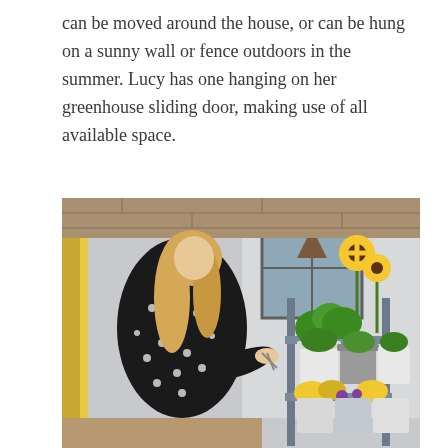can be moved around the house, or can be hung on a sunny wall or fence outdoors in the summer. Lucy has one hanging on her greenhouse sliding door, making use of all available space.
[Figure (photo): A woman with long blonde hair wearing a black floral dress stands beside a metal shelving unit filled with potted plants including sunflowers, herbs, and flowering plants in white and grey pots, inside a bright room.]